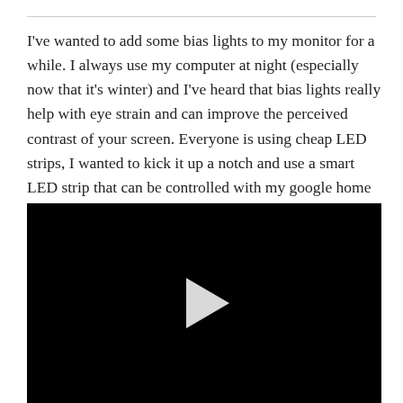I've wanted to add some bias lights to my monitor for a while. I always use my computer at night (especially now that it's winter) and I've heard that bias lights really help with eye strain and can improve the perceived contrast of your screen. Everyone is using cheap LED strips, I wanted to kick it up a notch and use a smart LED strip that can be controlled with my google home and my phone.
[Figure (other): Black video player thumbnail with a white play button triangle in the center]